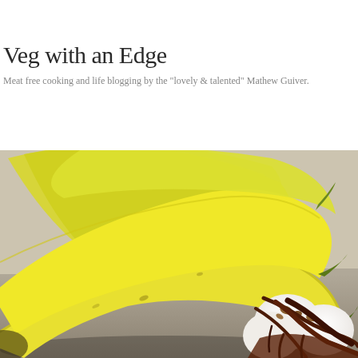Veg with an Edge
Meat free cooking and life blogging by the "lovely & talented" Mathew Guiver.
[Figure (photo): A bunch of ripe yellow bananas on a kitchen counter beside scoops of vanilla ice cream drizzled with chocolate sauce and topped with nuts.]